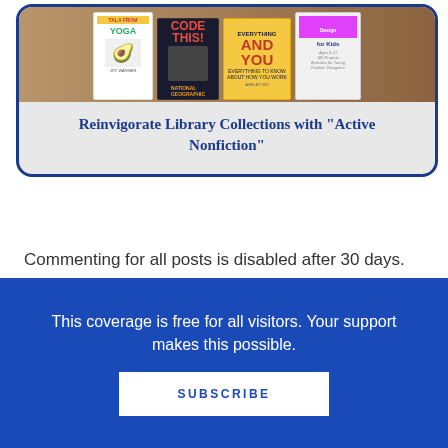[Figure (illustration): Book covers showing yoga, coding, science topics for kids on a brown/tan background]
Reinvigorate Library Collections with "Active Nonfiction"
Commenting for all posts is disabled after 30 days.
This coverage is free for all visitors. Your support makes this possible.
SUBSCRIBE